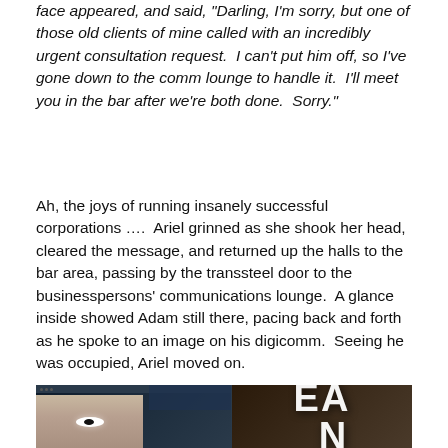face appeared, and said, "Darling, I'm sorry, but one of those old clients of mine called with an incredibly urgent consultation request.  I can't put him off, so I've gone down to the comm lounge to handle it.  I'll meet you in the bar after we're both done.  Sorry."
Ah, the joys of running insanely successful corporations ….  Ariel grinned as she shook her head, cleared the message, and returned up the halls to the bar area, passing by the transsteel door to the businesspersons' communications lounge.  A glance inside showed Adam still there, pacing back and forth as he spoke to an image on his digicomm.  Seeing he was occupied, Ariel moved on.
[Figure (photo): Dark screenshot showing a face (eye visible) on a screen on the left side, and large white letters on a dark brown/orange background on the right side.]